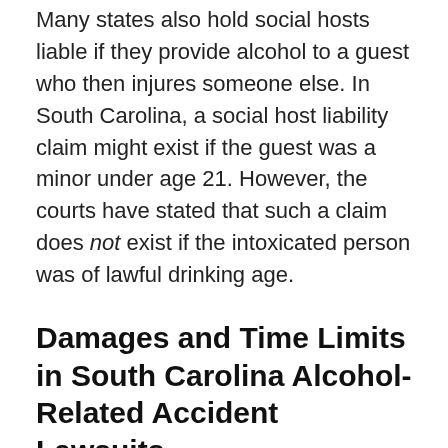Many states also hold social hosts liable if they provide alcohol to a guest who then injures someone else. In South Carolina, a social host liability claim might exist if the guest was a minor under age 21. However, the courts have stated that such a claim does not exist if the intoxicated person was of lawful drinking age.
Damages and Time Limits in South Carolina Alcohol-Related Accident Lawsuits
Dram shop and social host liability cases are civil claims, which means that the liability of the defendant—that's the business or individual who provided alcohol to the person who caused the accident—is expressed solely in terms of money